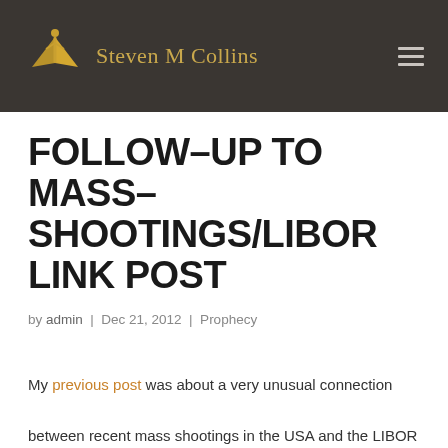Steven M Collins
FOLLOW-UP TO MASS-SHOOTINGS/LIBOR LINK POST
by admin | Dec 21, 2012 | Prophecy
My previous post was about a very unusual connection between recent mass shootings in the USA and the LIBOR